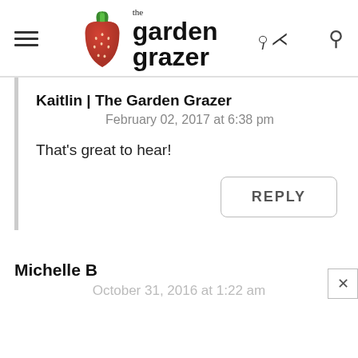the garden grazer
Kaitlin | The Garden Grazer
February 02, 2017 at 6:38 pm
That's great to hear!
REPLY
Michelle B
October 31, 2016 at 1:22 am